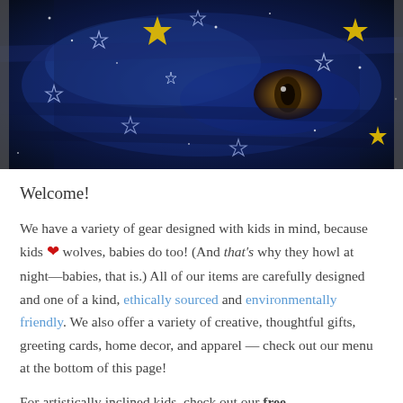[Figure (illustration): A dark blue cosmic/galaxy background with a wolf's eye visible, overlaid with gold and silver star decorations.]
Welcome!
We have a variety of gear designed with kids in mind, because kids ❤ wolves, babies do too! (And that's why they howl at night—babies, that is.) All of our items are carefully designed and one of a kind, ethically sourced and environmentally friendly. We also offer a variety of creative, thoughtful gifts, greeting cards, home decor, and apparel — check out our menu at the bottom of this page!
For artistically inclined kids, check out our free